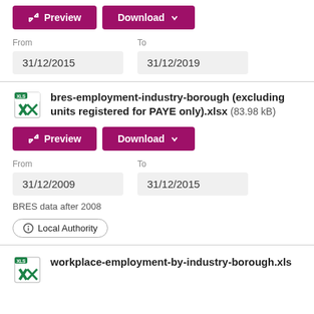[Figure (other): Preview and Download buttons for first file]
From  31/12/2015     To  31/12/2019
[Figure (logo): XLS file icon]
bres-employment-industry-borough (excluding units registered for PAYE only).xlsx  (83.98 kB)
[Figure (other): Preview and Download buttons for second file]
From  31/12/2009     To  31/12/2015
BRES data after 2008
Local Authority
[Figure (logo): XLS file icon for workplace-employment-by-industry-borough.xls]
workplace-employment-by-industry-borough.xls